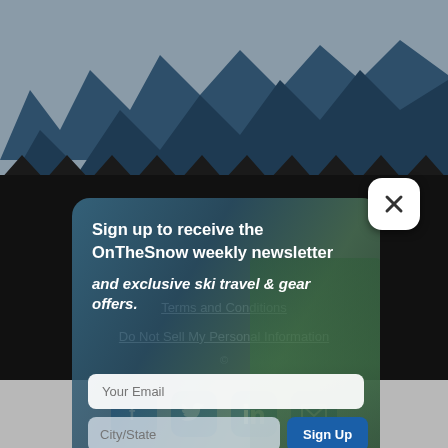[Figure (illustration): Mountain zigzag silhouette background with dark blue and grey mountains, ski resort website header]
[Figure (screenshot): Newsletter signup modal/popup with a person holding a snowboard in the background. Contains title text, email and city/state input fields, and a Sign Up button. Close (X) button in upper right corner.]
Sign up to receive the OnTheSnow weekly newsletter
and exclusive ski travel & gear offers.
Terms and Conditions
Do Not Sell My Personal Information
[Figure (infographic): Social media icons bar at bottom: Facebook, Twitter, LinkedIn, Email icons in blue rounded square buttons on grey background]